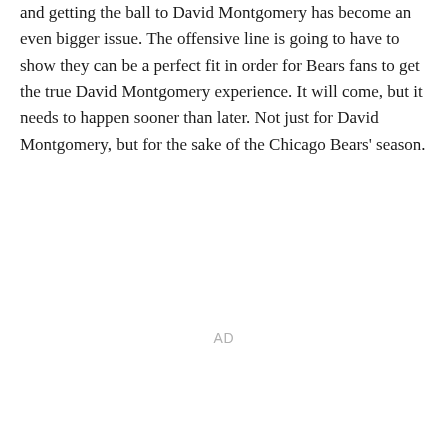and getting the ball to David Montgomery has become an even bigger issue. The offensive line is going to have to show they can be a perfect fit in order for Bears fans to get the true David Montgomery experience. It will come, but it needs to happen sooner than later. Not just for David Montgomery, but for the sake of the Chicago Bears' season.
AD